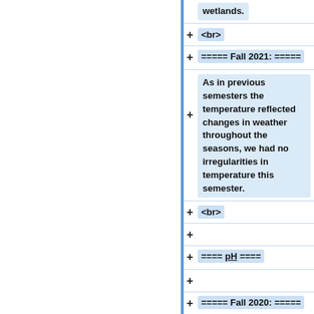wetlands.
+ <br>
+ ===== Fall 2021: =====
+ As in previous semesters the temperature reflected changes in weather throughout the seasons, we had no irregularities in temperature this semester.
+ <br>
+
+ ==== <u>pH</u> ====
+
+ ===== Fall 2020: =====
The pH is consistently